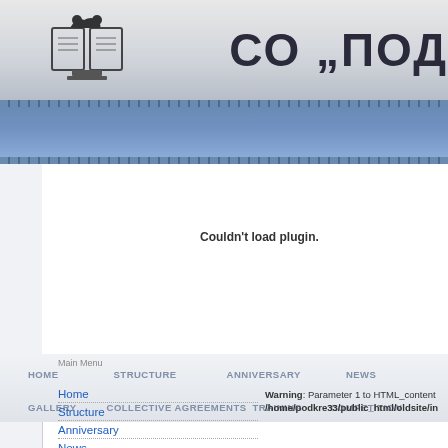[Figure (logo): Book with figure logo in header]
СО „ПОД
[Figure (illustration): Blue banner with globe/water image]
Couldn't load plugin.
HOME   STRUCTURE   ANNIVERSARY   NEWS
GALLERY   COLLECTIVE AGREEMENTS   TRAINING   COMPETITION
Main Menu
Home
Structure
Anniversary
News
Contacts
Symbols
Questions
Gallery
Warning: Parameter 1 to HTML_content /home/podkre33/public_html/oldsite/in